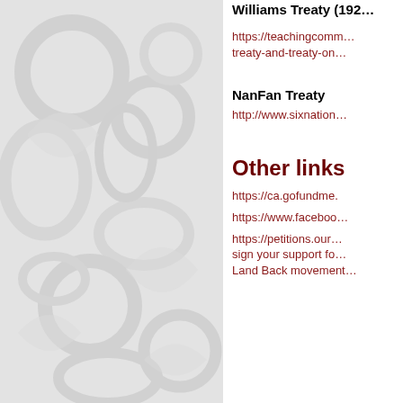[Figure (illustration): Light grey decorative background with floral/botanical watermark pattern on the left panel]
Williams Treaty (192…
https://teachingcomm… treaty-and-treaty-on…
NanFan Treaty
http://www.sixnation…
Other links
https://ca.gofundme.
https://www.faceboo…
https://petitions.our… sign your support fo… Land Back movement…